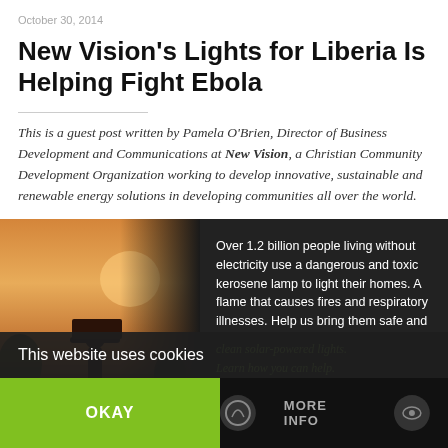October 30, 2014
New Vision's Lights for Liberia Is Helping Fight Ebola
This is a guest post written by Pamela O'Brien, Director of Business Development and Communications at New Vision, a Christian Community Development Organization working to develop innovative, sustainable and renewable energy solutions in developing communities all over the world.
[Figure (photo): Photo of a person silhouetted against a warm sunset sky, holding something overhead, with a dark overlay panel containing text about kerosene lamps and solar-powered lights.]
Over 1.2 billion people living without electricity use a dangerous and toxic kerosene lamp to light their homes. A flame that causes fires and respiratory illnesses. Help us bring them safe and clean solar-powered lights. Learn how you can help.
This website uses cookies
OKAY
MORE INFO